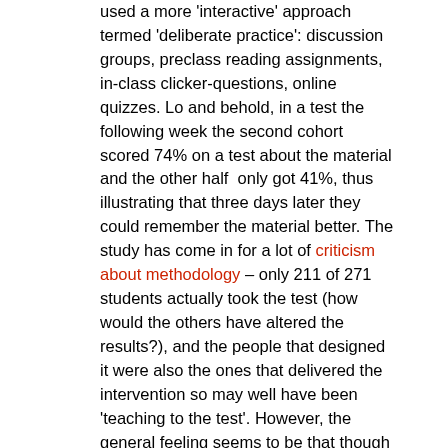used a more 'interactive' approach termed 'deliberate practice': discussion groups, preclass reading assignments, in-class clicker-questions, online quizzes. Lo and behold, in a test the following week the second cohort scored 74% on a test about the material and the other half  only got 41%, thus illustrating that three days later they could remember the material better. The study has come in for a lot of criticism about methodology – only 211 of 271 students actually took the test (how would the others have altered the results?), and the people that designed it were also the ones that delivered the intervention so may well have been 'teaching to the test'. However, the general feeling seems to be that though the study is flawed, the conclusions are broadly correct. It also illustrates that having a Nobel Prize allows you to publish anything you like anywhere you want.
Chris also read A better way to practice, 2012 . Written by Noa Kagayame, a Julliard School of Music violinist turned performance psychologist. His argument is that it is better to practice smart than practice hard – take home aphorisms from this article are Practice makes permanent and Perfect practice makes perfect, the implication being that unless you practice